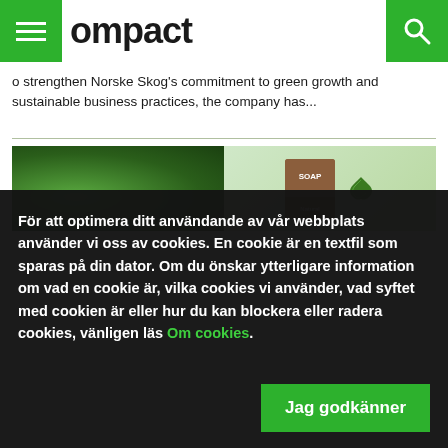Kompact (partial logo)
o strengthen Norske Skog's commitment to green growth and sustainable business practices, the company has...
[Figure (photo): Split image: left side shows dense green foliage/moss, right side shows product packaging on light green background]
För att optimera ditt användande av vår webbplats använder vi oss av cookies. En cookie är en textfil som sparas på din dator. Om du önskar ytterligare information om vad en cookie är, vilka cookies vi använder, vad syftet med cookien är eller hur du kan blockera eller radera cookies, vänligen läs Om cookies.